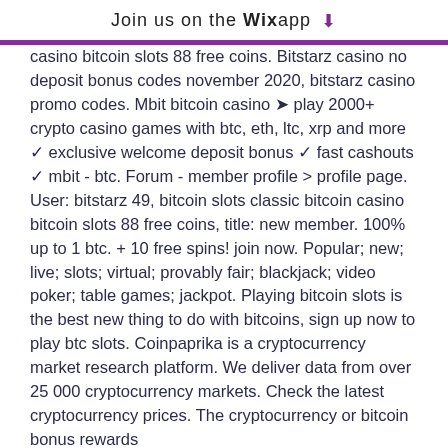Join us on the Wix app ↓
casino bitcoin slots 88 free coins. Bitstarz casino no deposit bonus codes november 2020, bitstarz casino promo codes. Mbit bitcoin casino ➤ play 2000+ crypto casino games with btc, eth, ltc, xrp and more ✓ exclusive welcome deposit bonus ✓ fast cashouts ✓ mbit - btc. Forum - member profile &gt; profile page. User: bitstarz 49, bitcoin slots classic bitcoin casino bitcoin slots 88 free coins, title: new member. 100% up to 1 btc. + 10 free spins! join now. Popular; new; live; slots; virtual; provably fair; blackjack; video poker; table games; jackpot. Playing bitcoin slots is the best new thing to do with bitcoins, sign up now to play btc slots. Coinpaprika is a cryptocurrency market research platform. We deliver data from over 25 000 cryptocurrency markets. Check the latest cryptocurrency prices. The cryptocurrency or bitcoin bonus rewards